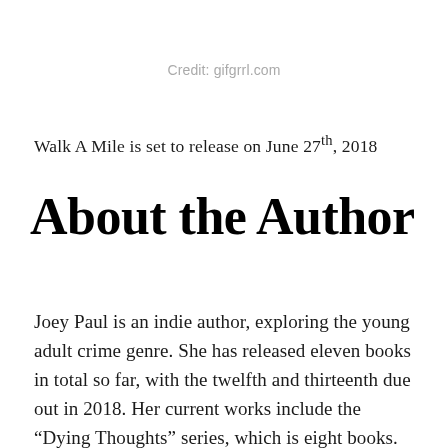Credit: gifgrrl.com
Walk A Mile is set to release on June 27th, 2018
About the Author
Joey Paul is an indie author, exploring the young adult crime genre. She has released eleven books in total so far, with the twelfth and thirteenth due out in 2018. Her current works include the “Dying Thoughts” series, which is eight books. She usually writes crime and mystery fiction, with a paranormal twist, but she has been known to dabble in contemporary romance and general fiction. She is